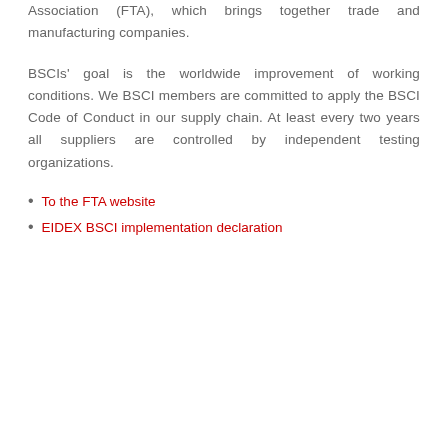Association (FTA), which brings together trade and manufacturing companies.
BSCIs' goal is the worldwide improvement of working conditions. We BSCI members are committed to apply the BSCI Code of Conduct in our supply chain. At least every two years all suppliers are controlled by independent testing organizations.
To the FTA website
EIDEX BSCI implementation declaration